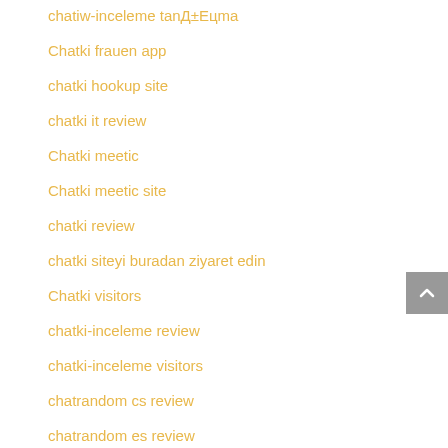chatiw-inceleme tanД±Eцma
Chatki frauen app
chatki hookup site
chatki it review
Chatki meetic
Chatki meetic site
chatki review
chatki siteyi buradan ziyaret edin
Chatki visitors
chatki-inceleme review
chatki-inceleme visitors
chatrandom cs review
chatrandom es review
Chatrandom review
Chatrandom visitors